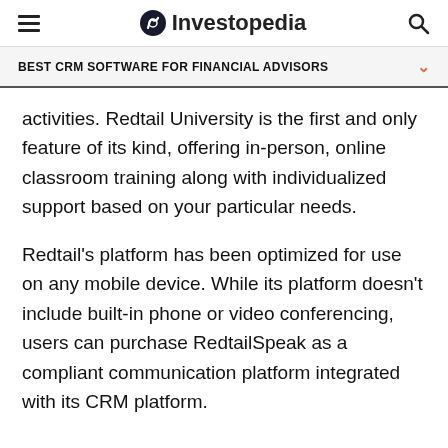Investopedia
BEST CRM SOFTWARE FOR FINANCIAL ADVISORS
activities. Redtail University is the first and only feature of its kind, offering in-person, online classroom training along with individualized support based on your particular needs.
Redtail's platform has been optimized for use on any mobile device. While its platform doesn't include built-in phone or video conferencing, users can purchase RedtailSpeak as a compliant communication platform integrated with its CRM platform.